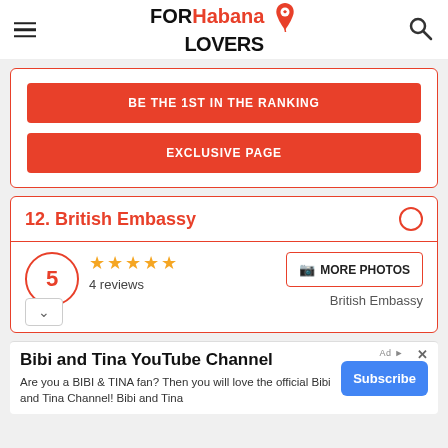FOR Habana LOVERS
BE THE 1ST IN THE RANKING
EXCLUSIVE PAGE
12. British Embassy
5 — 4 reviews — MORE PHOTOS — British Embassy
Bibi and Tina YouTube Channel — Are you a BIBI & TINA fan? Then you will love the official Bibi and Tina Channel! Bibi and Tina — Subscribe